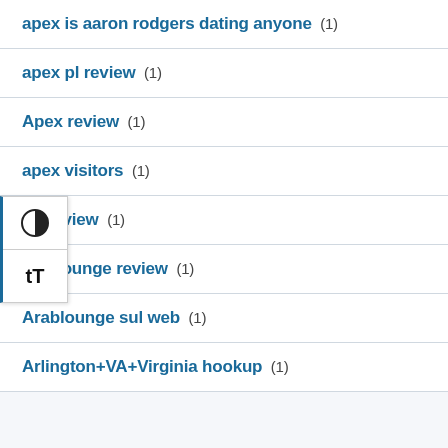apex is aaron rodgers dating anyone (1)
apex pl review (1)
Apex review (1)
apex visitors (1)
pp review (1)
arablounge review (1)
Arablounge sul web (1)
Arlington+VA+Virginia hookup (1)